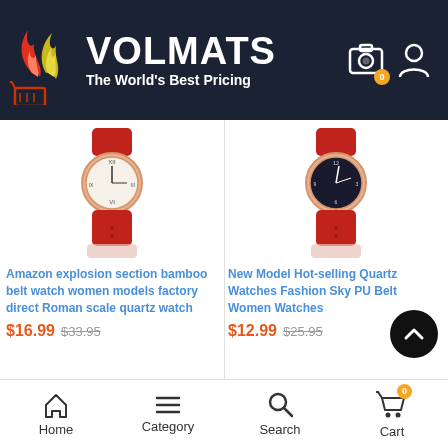[Figure (screenshot): Volmats e-commerce website header with flame logo, brand name VOLMATS, tagline 'The World's Best Pricing', cart and account icons on dark navy background]
[Figure (photo): Women's watch with rose gold case, white Roman numeral dial, and red bamboo/leather strap - left product]
Amazon explosion section bamboo belt watch women models factory direct Roman scale quartz watch
$16.99 $33.95
[Figure (photo): Women's watch with rose gold case, dark dial, and red PU strap - right product]
New Model Hot-selling Quartz Watches Fashion Sky PU Belt Women Watches
$12.99 $25.95
Out Of Stock
50%